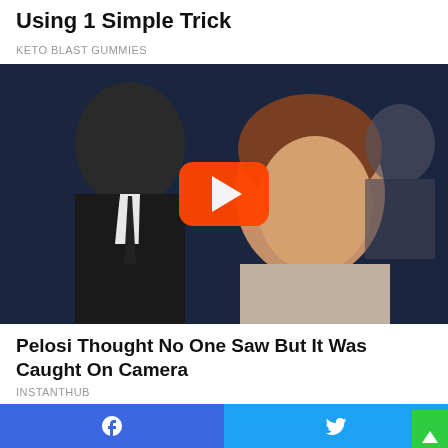Using 1 Simple Trick
KETO BLAST GUMMIES
[Figure (photo): Photo of two people at an event with a YouTube play button overlay in the center]
Pelosi Thought No One Saw But It Was Caught On Camera
INSTANTHUB
[Figure (photo): Two cropped photos side by side at the bottom of the feed]
Facebook share button and Twitter share button